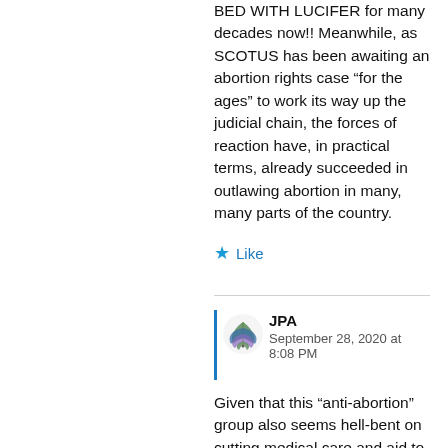BED WITH LUCIFER for many decades now!! Meanwhile, as SCOTUS has been awaiting an abortion rights case “for the ages” to work its way up the judicial chain, the forces of reaction have, in practical terms, already succeeded in outlawing abortion in many, many parts of the country.
Like
JPA
September 28, 2020 at 8:08 PM
Given that this “anti-abortion” group also seems hell-bent on cutting medical care and aid to the poor “You hypocrites. How can you claim to love the unborn child you cannot see when you do not love the women and children